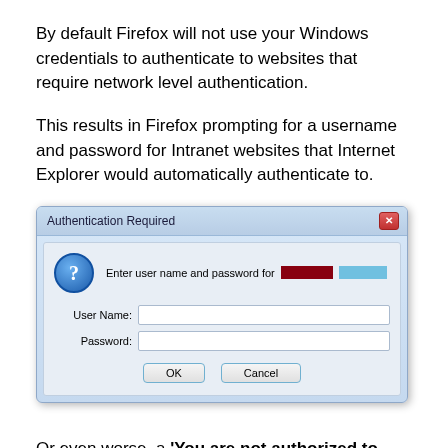By default Firefox will not use your Windows credentials to authenticate to websites that require network level authentication.
This results in Firefox prompting for a username and password for Intranet websites that Internet Explorer would automatically authenticate to.
[Figure (screenshot): Windows-style 'Authentication Required' dialog box with a question mark icon, fields for User Name and Password, and OK/Cancel buttons. The prompt text reads 'Enter user name and password for' followed by redacted content.]
Or even worse, a 'You are not authorized to view this